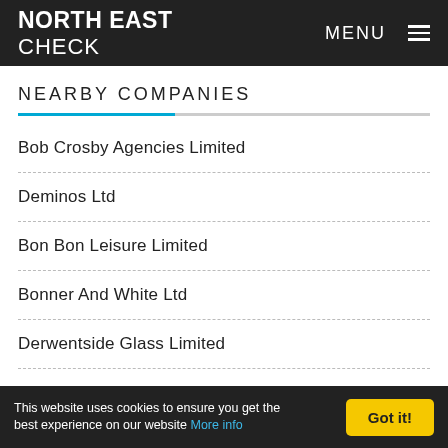NORTH EAST CHECK | MENU
NEARBY COMPANIES
Bob Crosby Agencies Limited
Deminos Ltd
Bon Bon Leisure Limited
Bonner And White Ltd
Derwentside Glass Limited
Booth Leisure Ltd
This website uses cookies to ensure you get the best experience on our website More info | Got it!